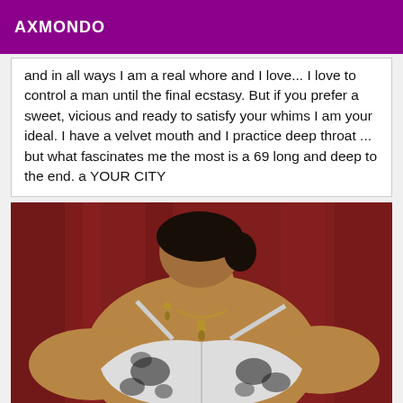AXMONDO
and in all ways I am a real whore and I love... I love to control a man until the final ecstasy. But if you prefer a sweet, vicious and ready to satisfy your whims I am your ideal. I have a velvet mouth and I practice deep throat ... but what fascinates me the most is a 69 long and deep to the end. a YOUR CITY
[Figure (photo): A woman photographed from the neck/chin down, wearing a white and black floral-patterned bra and a necklace with pendant earrings. The background is a red curtain/drape. The image is cropped so the face is not visible.]